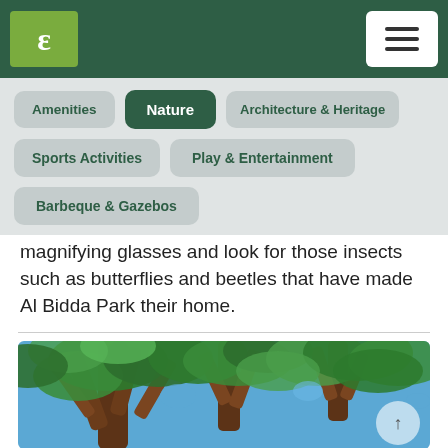Navigation bar with logo and menu
Amenities
Nature
Architecture & Heritage
Sports Activities
Play & Entertainment
Barbeque & Gazebos
magnifying glasses and look for those insects such as butterflies and beetles that have made Al Bidda Park their home.
[Figure (photo): Looking up through the canopy of a large tree with spreading branches and dense green foliage against a blue sky]